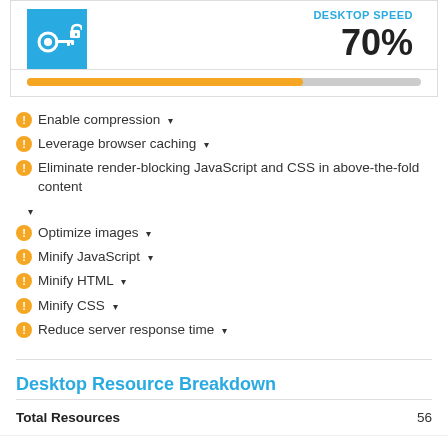[Figure (infographic): Score card showing 70% with a blue icon box on the left and a cyan label at the top right, followed by an orange/gray progress bar at 70%]
Enable compression ▾
Leverage browser caching ▾
Eliminate render-blocking JavaScript and CSS in above-the-fold content ▾
Optimize images ▾
Minify JavaScript ▾
Minify HTML ▾
Minify CSS ▾
Reduce server response time ▾
Desktop Resource Breakdown
|  |  |
| --- | --- |
| Total Resources | 56 |
| Number of Hosts | 12 |